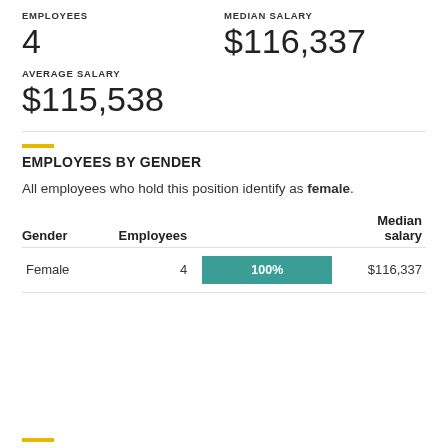EMPLOYEES
4
MEDIAN SALARY
$116,337
AVERAGE SALARY
$115,538
EMPLOYEES BY GENDER
All employees who hold this position identify as female.
| Gender | Employees |  | Median salary |
| --- | --- | --- | --- |
| Female | 4 | 100% | $116,337 |